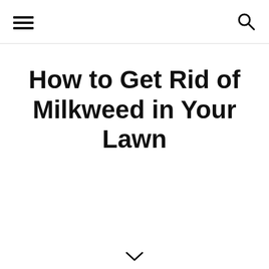≡  🔍
How to Get Rid of Milkweed in Your Lawn